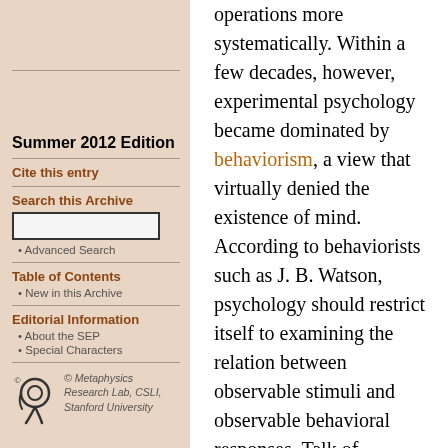Summer 2012 Edition
Cite this entry
Search this Archive
Advanced Search
Table of Contents
New in this Archive
Editorial Information
About the SEP
Special Characters
© Metaphysics Research Lab, CSLI, Stanford University
operations more systematically. Within a few decades, however, experimental psychology became dominated by behaviorism, a view that virtually denied the existence of mind. According to behaviorists such as J. B. Watson, psychology should restrict itself to examining the relation between observable stimuli and observable behavioral responses. Talk of consciousness and mental representations was banished from respectable scientific discussion. Especially in North America, behaviorism dominated the psychological scene through the 1950s.